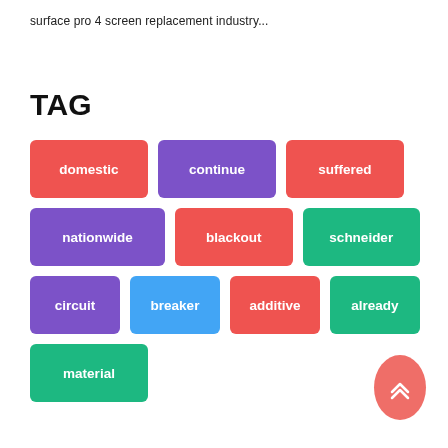surface pro 4 screen replacement industry...
TAG
[Figure (infographic): Tag cloud with colored pill-shaped labels: domestic (red), continue (purple), suffered (red), nationwide (purple), blackout (red), schneider (green), circuit (purple), breaker (blue), additive (red), already (green), material (green). A coral/salmon scroll-to-top button with double chevron up arrow in bottom right.]